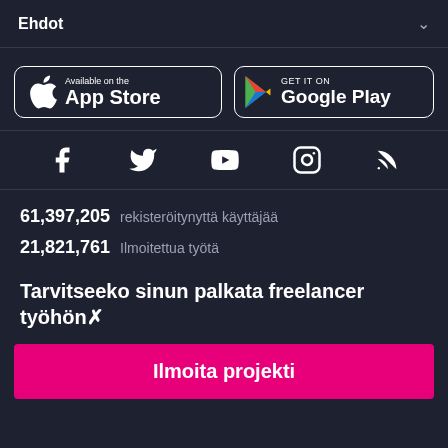Ehdot
[Figure (logo): App Store and Google Play store download buttons]
[Figure (other): Social media icons: Facebook, Twitter, YouTube, Instagram, RSS]
61,397,205 rekisteröitynyttä käyttäjää
21,821,761 Ilmoitettua työtä
Tarvitseeko sinun palkata freelancer työhön✗
Ilmoita projekti